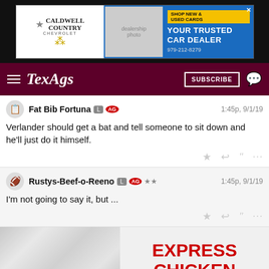[Figure (screenshot): Car dealership advertisement: Caldwell Country Chevrolet. 'Shop New & Used Cards', 'Your Trusted Car Dealer', phone 979-212-8279]
TexAgs — SUBSCRIBE
Fat Bib Fortuna L AG  1:45p, 9/1/19
Verlander should get a bat and tell someone to sit down and he'll just do it himself.
Rustys-Beef-o-Reeno L AG ★★  1:45p, 9/1/19
I'm not going to say it, but ...
[Figure (photo): Advertisement image showing 'EXPRESS CHICKEN' in large red bold text on a light/white textured background]
MelvinUdall L  1:47p, 9/1/19
Someone can correct me, but is seems like the Astros have major issues when a team does an opener.